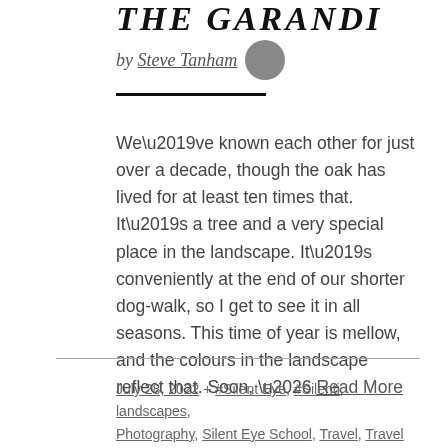THE GARANDI
by Steve Tanham
We’ve known each other for just over a decade, though the oak has lived for at least ten times that. It’s a tree and a very special place in the landscape. It’s conveniently at the end of our shorter dog-walk, so I get to see it in all seasons. This time of year is mellow, and the colours in the landscape reflect that. Soon, … Read More
July 28, 2022 + #Silent Eye, #Silenti, landscapes, Photography, Silent Eye School, Travel, Travel and